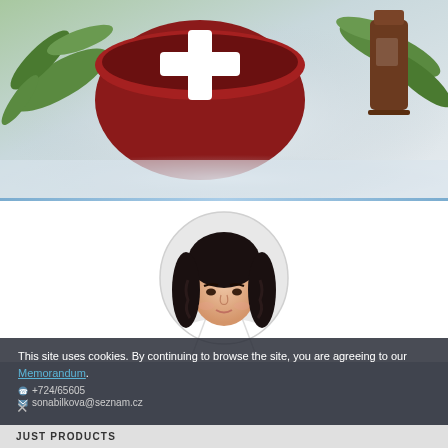[Figure (photo): Hero banner: medical red bowl with white cross symbol, herbs and plants, brown bottle, light blue-grey background]
[Figure (photo): Portrait photo of Soňa Bílková, woman with dark wavy hair wearing white coat, circular cropped photo]
Soňa Bílková
EXCLUSIVE ORGANISER
This site uses cookies. By continuing to browse the site, you are agreeing to our Memorandum.
+724/65605
sonabilkova@seznam.cz
JUST PRODUCTS